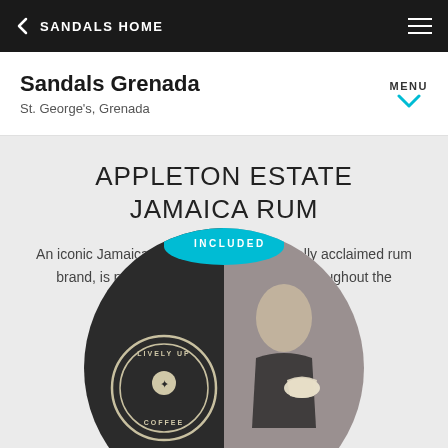SANDALS HOME
Sandals Grenada
St. George's, Grenada
APPLETON ESTATE JAMAICA RUM
An iconic Jamaica product and internationally acclaimed rum brand, is poured at all Sandals Resorts throughout the Caribbean.
Learn More >
[Figure (photo): Circular image with 'INCLUDED' badge at top, showing Lively Up Coffee logo on dark background on left and woman drinking from a cup on right]